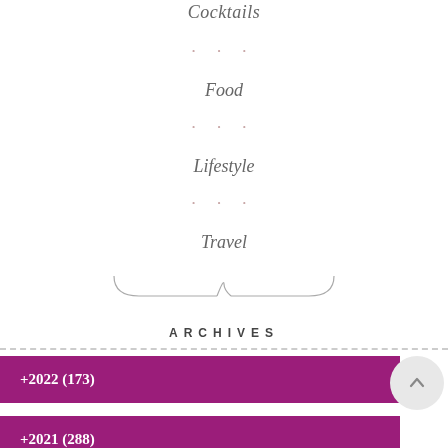Cocktails
• • •
Food
• • •
Lifestyle
• • •
Travel
[Figure (illustration): Decorative bracket/divider ornament]
ARCHIVES
+2022 (173)
+2021 (288)
+2020 (...)